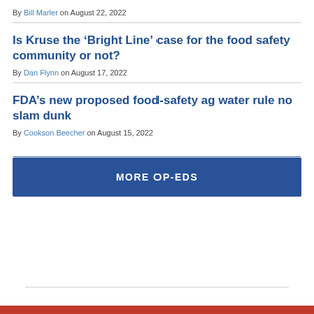By Bill Marler on August 22, 2022
Is Kruse the ‘Bright Line’ case for the food safety community or not?
By Dan Flynn on August 17, 2022
FDA’s new proposed food-safety ag water rule no slam dunk
By Cookson Beecher on August 15, 2022
MORE OP-EDS